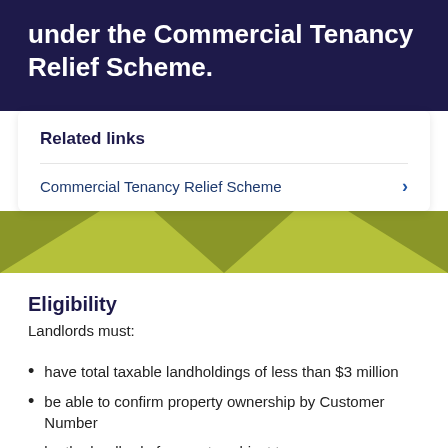under the Commercial Tenancy Relief Scheme.
Related links
Commercial Tenancy Relief Scheme
[Figure (illustration): Olive/yellow-green decorative banner with dark triangular overlapping shapes]
Eligibility
Landlords must:
have total taxable landholdings of less than $3 million
be able to confirm property ownership by Customer Number
be the landlord of property subject to a